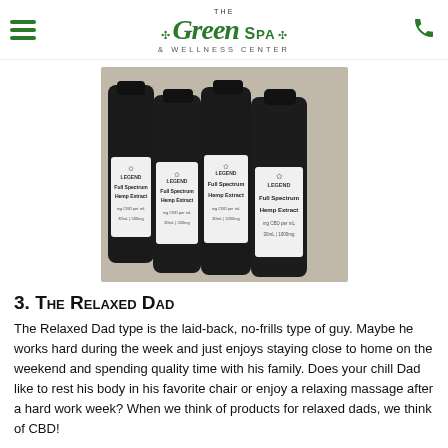The Green Spa & Wellness Center
[Figure (photo): Four dark glass bottles of 'Full Spectrum Hemp Extract' CBD oil by Legend, arranged in a row against a light background.]
3. The Relaxed Dad
The Relaxed Dad type is the laid-back, no-frills type of guy. Maybe he works hard during the week and just enjoys staying close to home on the weekend and spending quality time with his family. Does your chill Dad like to rest his body in his favorite chair or enjoy a relaxing massage after a hard work week? When we think of products for relaxed dads, we think of CBD!